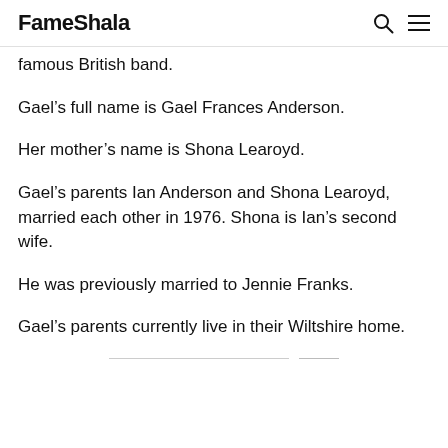FameShala
famous British band.
Gael's full name is Gael Frances Anderson.
Her mother's name is Shona Learoyd.
Gael's parents Ian Anderson and Shona Learoyd, married each other in 1976. Shona is Ian's second wife.
He was previously married to Jennie Franks.
Gael's parents currently live in their Wiltshire home.